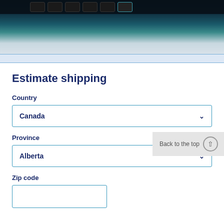[Figure (photo): Close-up photo of a laptop keyboard with dark keys, teal/blue-green tones, showing a credit card on the keyboard surface]
Estimate shipping
Country
Canada
Province
Back to the top ↑
Alberta
Zip code